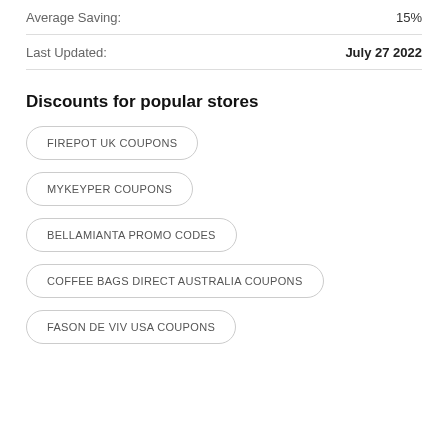Average Saving: 15%
Last Updated: July 27 2022
Discounts for popular stores
FIREPOT UK COUPONS
MYKEYPER COUPONS
BELLAMIANTA PROMO CODES
COFFEE BAGS DIRECT AUSTRALIA COUPONS
FASON DE VIV USA COUPONS